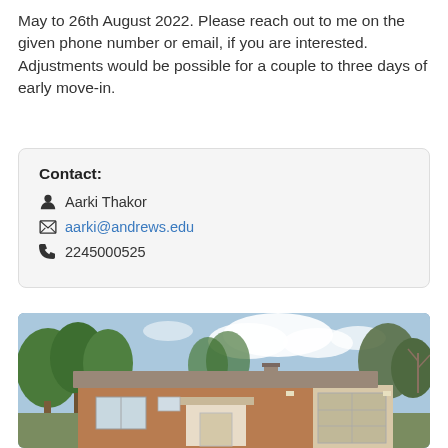May to 26th August 2022. Please reach out to me on the given phone number or email, if you are interested. Adjustments would be possible for a couple to three days of early move-in.
Contact:
Aarki Thakor
aarki@andrews.edu
2245000525
[Figure (photo): Exterior photo of a single-story brick ranch house with a grey roof, attached garage on the right, front entrance with a canopy, and trees in the background under a partly cloudy sky.]